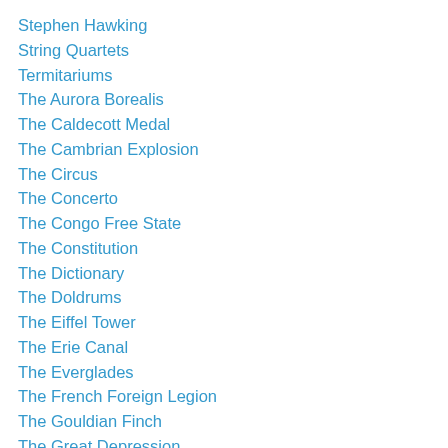Stephen Hawking
String Quartets
Termitariums
The Aurora Borealis
The Caldecott Medal
The Cambrian Explosion
The Circus
The Concerto
The Congo Free State
The Constitution
The Dictionary
The Doldrums
The Eiffel Tower
The Erie Canal
The Everglades
The French Foreign Legion
The Gouldian Finch
The Great Depression
The Hippie Movement
The Human Body